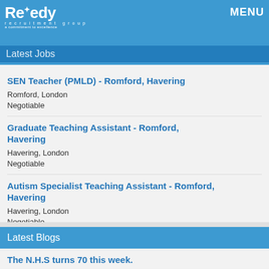MENU
[Figure (logo): Remedy Recruitment Group logo - white text on blue background]
Latest Jobs
SEN Teacher (PMLD) - Romford, Havering
Romford, London
Negotiable
Graduate Teaching Assistant - Romford, Havering
Havering, London
Negotiable
Autism Specialist Teaching Assistant - Romford, Havering
Havering, London
Negotiable
Latest Blogs
The N.H.S turns 70 this week.